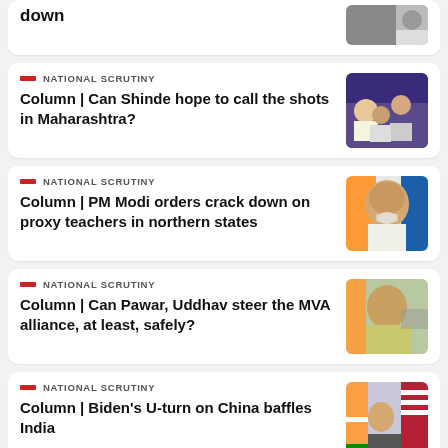down
NATIONAL SCRUTINY
Column | Can Shinde hope to call the shots in Maharashtra?
[Figure (photo): Photo of political figures at a press conference]
NATIONAL SCRUTINY
Column | PM Modi orders crack down on proxy teachers in northern states
[Figure (photo): Close-up photo of PM Modi]
NATIONAL SCRUTINY
Column | Can Pawar, Uddhav steer the MVA alliance, at least, safely?
[Figure (photo): Photo of a politician speaking]
NATIONAL SCRUTINY
Column | Biden's U-turn on China baffles India
[Figure (photo): Photo with Indian and US flags]